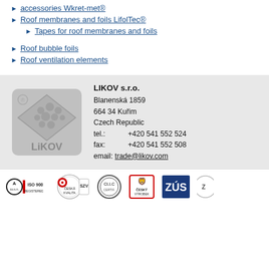accessories Wkret-met®
Roof membranes and foils LifolTec®
Tapes for roof membranes and foils
Roof bubble foils
Roof ventilation elements
[Figure (logo): LIKOV s.r.o. company logo — grey diamond/tile shape with circles and LIKOV text]
LIKOV s.r.o.
Blanenská 1859
664 34 Kuřim
Czech Republic
tel.:    +420 541 552 524
fax:    +420 541 552 508
email: trade@likov.com
[Figure (logo): Row of certification badges: ISO 9001 Registered, Česká Kvalita SZV, CSTC, Český Výrobek, ZÚS, and one partially visible badge]